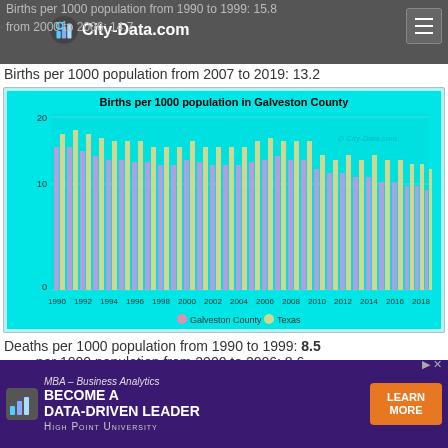City-Data.com
Births per 1000 population from 1990 to 1999: 15.8
Births per 1000 population from 2000 to 2006: 14.7
Births per 1000 population from 2007 to 2019: 13.2
[Figure (grouped-bar-chart): Births per 1000 population in Galveston County]
Deaths per 1000 population from 1990 to 1999: 8.5
Deaths per 1000 population from 2000 to 2006: 8.6
[Figure (infographic): Advertisement banner: MBA – Business Analytics, BECOME A DATA-DRIVEN LEADER, High Point University, Learn More button]